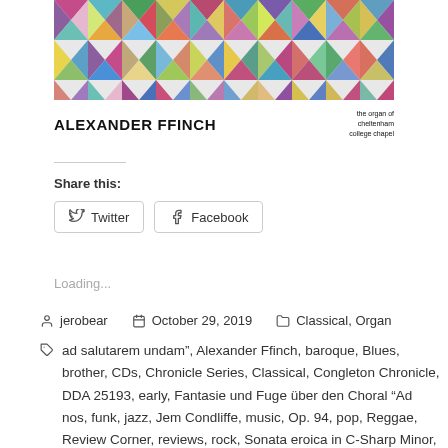[Figure (illustration): Album cover art for Alexander Ffinch featuring a colorful geometric diamond/triangle pattern in greens, purples, pinks, blues, yellows, and teals]
ALEXANDER FFINCH   the organ of cheltenham college chapel
Share this:
Twitter   Facebook
Loading...
jerobear   October 29, 2019   Classical, Organ
ad salutarem undam", Alexander Ffinch, baroque, Blues, brother, CDs, Chronicle Series, Classical, Congleton Chronicle, DDA 25193, early, Fantasie und Fuge über den Choral "Ad nos, funk, jazz, Jem Condliffe, music, Op. 94, pop, Reggae, Review Corner, reviews, rock, Sonata eroica in C-Sharp Minor, soul, The Dancing Pipes, Transformations